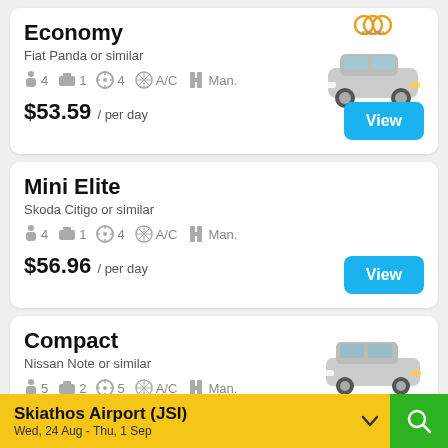Economy
Fiat Panda or similar
4 passengers, 1 bag, 4 doors, A/C, Man.
$53.59 / per day
Mini Elite
Skoda Citigo or similar
4 passengers, 1 bag, 4 doors, A/C, Man.
$56.96 / per day
Compact
Nissan Note or similar
5 passengers, 2 bags, 5 doors, A/C, Man.
$65.17 / per day
Skiathos Airport (JSI) Wed, 24 Aug - Thu, 1 Sep